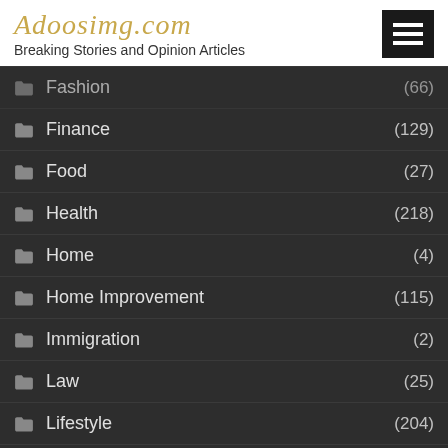Adoosimg.com — Breaking Stories and Opinion Articles
Fashion (66)
Finance (129)
Food (27)
Health (218)
Home (4)
Home Improvement (115)
Immigration (2)
Law (25)
Lifestyle (204)
Real Estate (26)